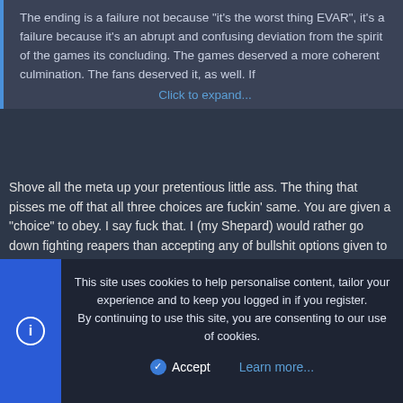The ending is a failure not because "it's the worst thing EVAR", it's a failure because it's an abrupt and confusing deviation from the spirit of the games its concluding. The games deserved a more coherent culmination. The fans deserved it, as well. If

Click to expand...
Shove all the meta up your pretentious little ass. The thing that pisses me off that all three choices are fuckin' same. You are given a "choice" to obey. I say fuck that. I (my Shepard) would rather go down fighting reapers than accepting any of bullshit options given to me.
Richardplex
New member
Mar 14, 2012
#44
This site uses cookies to help personalise content, tailor your experience and to keep you logged in if you register.
By continuing to use this site, you are consenting to our use of cookies.

Accept    Learn more...